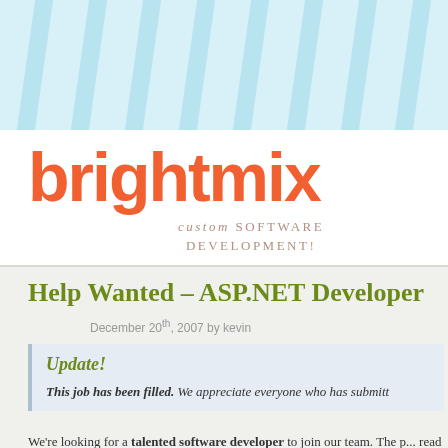[Figure (logo): Brightmix logo with light blue diagonal striped header background and orange 'brightmix' wordmark with tagline 'custom SOFTWARE DEVELOPMENT!']
Help Wanted – ASP.NET Developer
December 20th, 2007 by kevin
Update!
This job has been filled. We appreciate everyone who has submitt...
We're looking for a talented software developer to join our team. The p... read this post and see if you meet our qualifications and are interested in...
We Require That You...